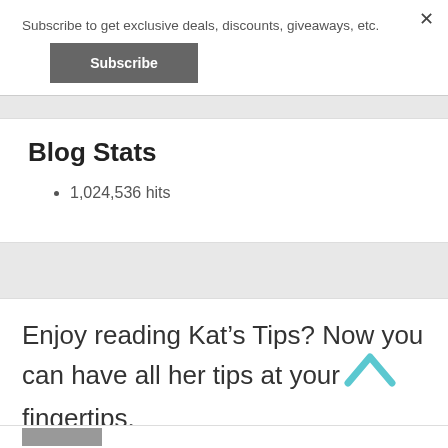Subscribe to get exclusive deals, discounts, giveaways, etc.
Subscribe
Blog Stats
1,024,536 hits
Enjoy reading Kat’s Tips? Now you can have all her tips at your fingertips.